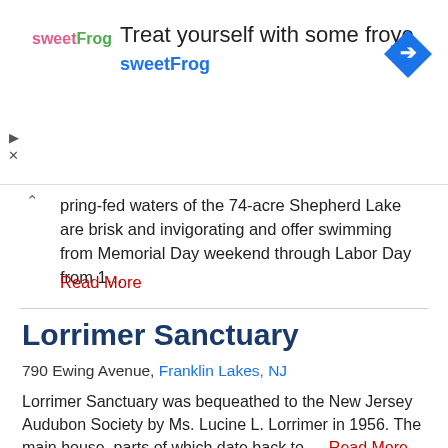[Figure (illustration): Advertisement banner for sweetFrog frozen yogurt. Shows sweetFrog logo on left, headline 'Treat yourself with some froyo' with 'sweetFrog' brand link, and a blue diamond navigation icon on the right.]
pring-fed waters of the 74-acre Shepherd Lake are brisk and invigorating and offer swimming from Memorial Day weekend through Labor Day from 1…
Read More
Lorrimer Sanctuary
790 Ewing Avenue, Franklin Lakes, NJ
Lorrimer Sanctuary was bequeathed to the New Jersey Audubon Society by Ms. Lucine L. Lorrimer in 1956. The main house, parts of which date back to … Read More
James A. McFaul Environmental Center